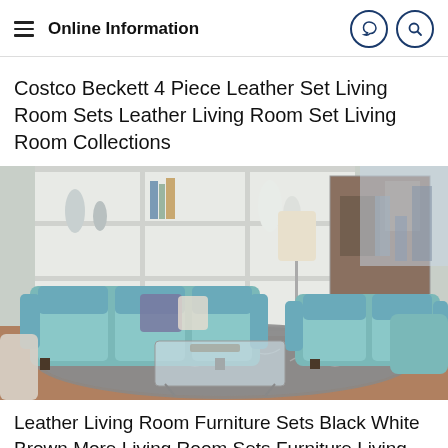Online Information
Costco Beckett 4 Piece Leather Set Living Room Sets Leather Living Room Set Living Room Collections
[Figure (photo): Photo of a living room furniture set featuring teal/light blue leather sofas, loveseat, and chair arranged on a grey patterned rug with a glass coffee table, white bookshelves and abstract artwork in the background.]
Leather Living Room Furniture Sets Black White Brown More Living Room Sets Furniture Living Room Leather